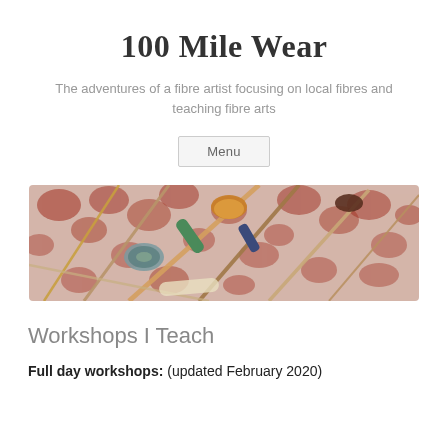100 Mile Wear
The adventures of a fibre artist focusing on local fibres and teaching fibre arts
Menu
[Figure (photo): Flat lay of weaving and spinning tools including spindles, needles, and a whorl arranged on a red floral fabric background]
Workshops I Teach
Full day workshops: (updated February 2020)